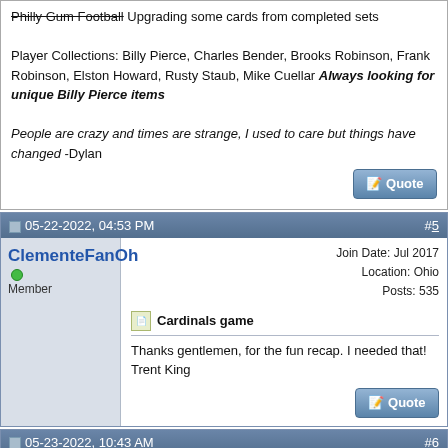Philly Gum Football Upgrading some cards from completed sets

Player Collections: Billy Pierce, Charles Bender, Brooks Robinson, Frank Robinson, Elston Howard, Rusty Staub, Mike Cuellar Always looking for unique Billy Pierce items

People are crazy and times are strange, I used to care but things have changed -Dylan
05-22-2022, 04:53 PM #5
ClementeFanOh [online]
Member
Join Date: Jul 2017
Location: Ohio
Posts: 535
Cardinals game
Thanks gentlemen, for the fun recap. I needed that! Trent King
05-23-2022, 10:43 AM #6
clydepepper [online]
Raymond 'Robbie' Culpepper
Member
Join Date: May 2014
Location: Columbus, GA
Posts: 6,411